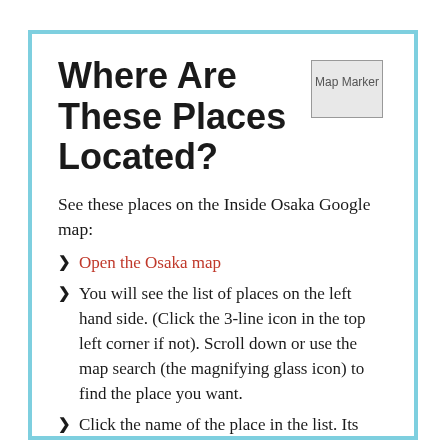Where Are These Places Located?
[Figure (illustration): Map Marker icon image placeholder showing alt text 'Map Marker']
See these places on the Inside Osaka Google map:
Open the Osaka map
You will see the list of places on the left hand side. (Click the 3-line icon in the top left corner if not). Scroll down or use the map search (the magnifying glass icon) to find the place you want.
Click the name of the place in the list. Its location pin will be highlighted on the map.